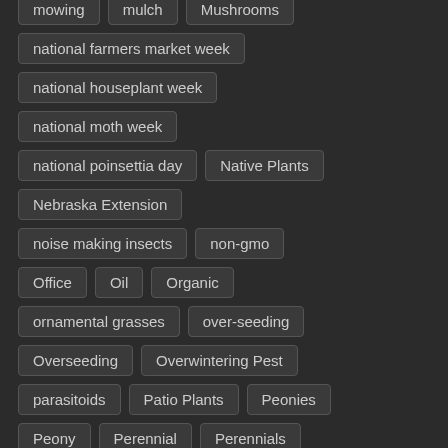mowing
mulch
Mushrooms
national farmers market week
national houseplant week
national moth week
national poinsettia day
Native Plants
Nebraska Extension
noise making insects
non-gmo
Office
Oil
Organic
ornamental grasses
over-seeding
Overseeding
Overwintering Pest
parasitoids
Patio Plants
Peonies
Peony
Perennial
Perennials